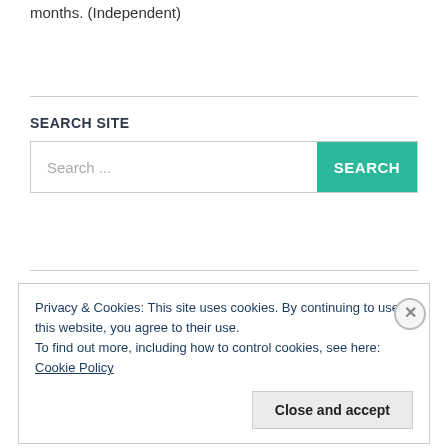months. (Independent)
SEARCH SITE
Search ...
SEARCH
Privacy & Cookies: This site uses cookies. By continuing to use this website, you agree to their use.
To find out more, including how to control cookies, see here: Cookie Policy
Close and accept